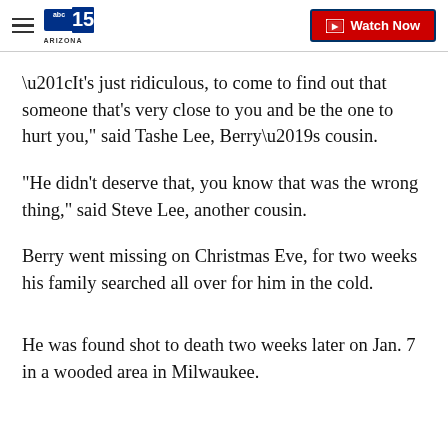abc15 ARIZONA | Watch Now
“It's just ridiculous, to come to find out that someone that's very close to you and be the one to hurt you," said Tashe Lee, Berry’s cousin.
"He didn't deserve that, you know that was the wrong thing," said Steve Lee, another cousin.
Berry went missing on Christmas Eve, for two weeks his family searched all over for him in the cold.
He was found shot to death two weeks later on Jan. 7 in a wooded area in Milwaukee.